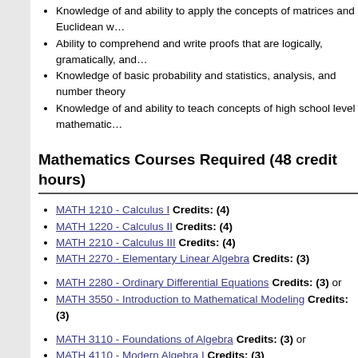Knowledge of and ability to apply the concepts of matrices and Euclidean w…
Ability to comprehend and write proofs that are logically, gramatically, and…
Knowledge of basic probability and statistics, analysis, and number theory
Knowledge of and ability to teach concepts of high school level mathematic…
Mathematics Courses Required (48 credit hours)
MATH 1210 - Calculus I Credits: (4)
MATH 1220 - Calculus II Credits: (4)
MATH 2210 - Calculus III Credits: (4)
MATH 2270 - Elementary Linear Algebra Credits: (3)
MATH 2280 - Ordinary Differential Equations Credits: (3) or
MATH 3550 - Introduction to Mathematical Modeling Credits: (3)
MATH 3110 - Foundations of Algebra Credits: (3) or
MATH 4110 - Modern Algebra I Credits: (3)
MTHE 2120 - Geometry from a Teaching Perspective Credits: (3)
MATH 3120 - Foundations of Euclidean and Non-Euclidean Geometry…
MATH 3160 - Number Theory Credits: (3)